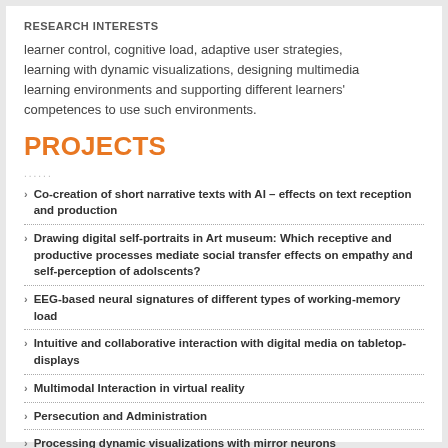RESEARCH INTERESTS
learner control, cognitive load, adaptive user strategies, learning with dynamic visualizations, designing multimedia learning environments and supporting different learners' competences to use such environments.
PROJECTS
Co-creation of short narrative texts with AI – effects on text reception and production
Drawing digital self-portraits in Art museum: Which receptive and productive processes mediate social transfer effects on empathy and self-perception of adolscents?
EEG-based neural signatures of different types of working-memory load
Intuitive and collaborative interaction with digital media on tabletop-displays
Multimodal Interaction in virtual reality
Persecution and Administration
Processing dynamic visualizations with mirror neurons